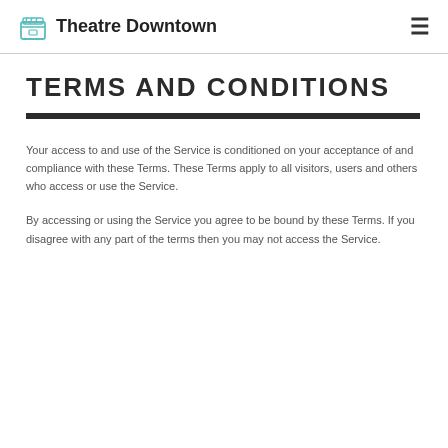Theatre Downtown
TERMS AND CONDITIONS
Your access to and use of the Service is conditioned on your acceptance of and compliance with these Terms. These Terms apply to all visitors, users and others who access or use the Service.
By accessing or using the Service you agree to be bound by these Terms. If you disagree with any part of the terms then you may not access the Service.